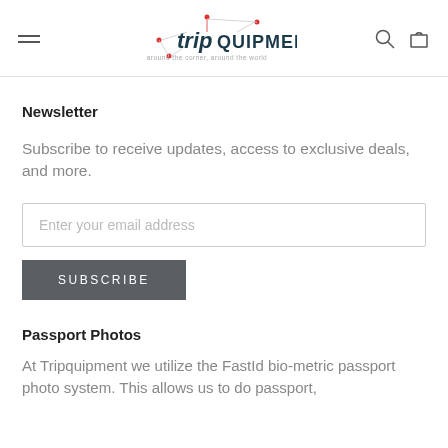[Figure (logo): Tripquipment logo with map pin icon and tagline 'around the corner, around the world']
Newsletter
Subscribe to receive updates, access to exclusive deals, and more.
Enter your email address
SUBSCRIBE
Passport Photos
At Tripquipment we utilize the FastId bio-metric passport photo system. This allows us to do passport, photos quickly and to...